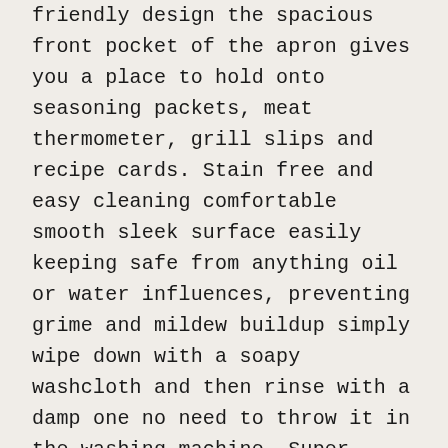friendly design the spacious front pocket of the apron gives you a place to hold onto seasoning packets, meat thermometer, grill slips and recipe cards. Stain free and easy cleaning comfortable smooth sleek surface easily keeping safe from anything oil or water influences, preventing grime and mildew buildup simply wipe down with a soapy washcloth and then rinse with a damp one no need to throw it in the washing machine. Super protection and broad use large bib apron that covers from chest to knee provides great coverage and protection from kitchen grease, spills and food stains.